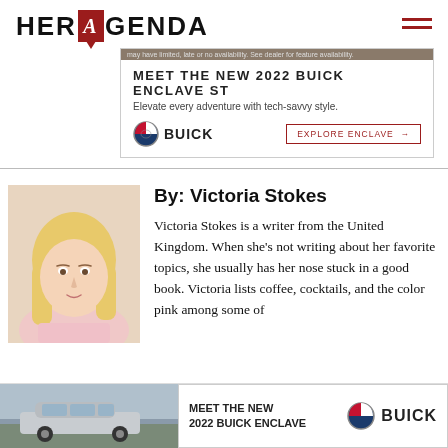[Figure (logo): Her Agenda logo with red A letter mark]
[Figure (screenshot): Buick advertisement: MEET THE NEW 2022 BUICK ENCLAVE ST - Elevate every adventure with tech-savvy style. EXPLORE ENCLAVE button.]
[Figure (photo): Author photo of Victoria Stokes, a blonde woman]
By: Victoria Stokes
Victoria Stokes is a writer from the United Kingdom. When she's not writing about her favorite topics, she usually has her nose stuck in a good book. Victoria lists coffee, cocktails, and the color pink among some of
[Figure (screenshot): Bottom Buick advertisement: MEET THE NEW 2022 BUICK ENCLAVE with Buick logo and car image]